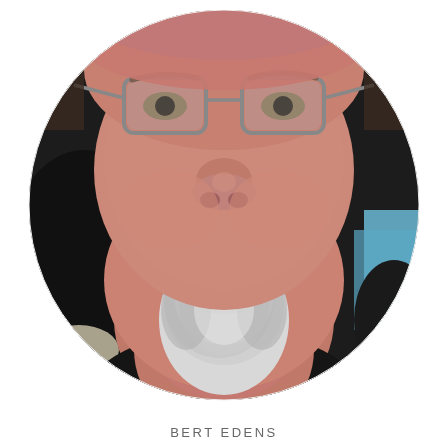[Figure (photo): Circular cropped portrait photo of a middle-aged man with glasses, a brown mustache and white goatee beard, wearing a black shirt. The background shows a dark car interior with a glimpse of blue sky.]
BERT EDENS